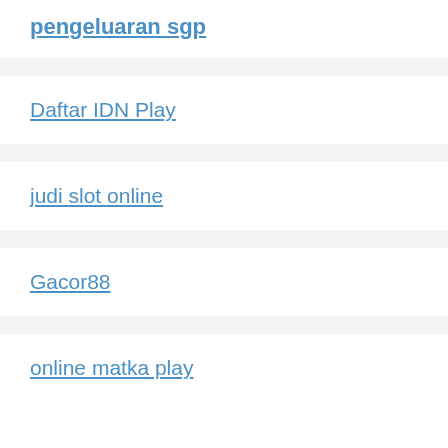pengeluaran sgp
Daftar IDN Play
judi slot online
Gacor88
online matka play